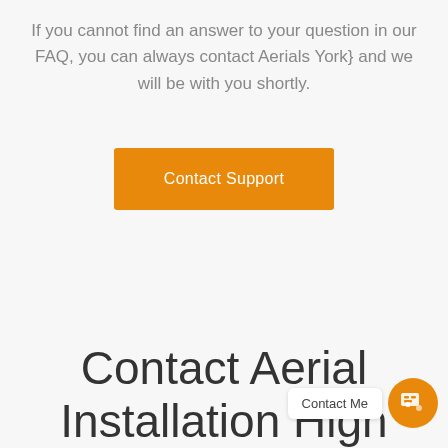If you cannot find an answer to your question in our FAQ, you can always contact Aerials York} and we will be with you shortly.
[Figure (other): Orange 'Contact Support' button]
Contact Aerial Installation High
[Figure (other): Chat widget with 'Contact Me' bubble and orange chat icon button]